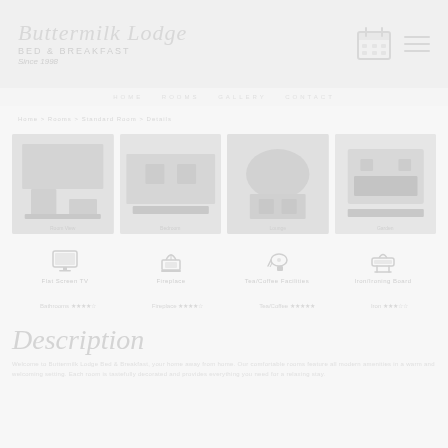Buttermilk Lodge Bed & Breakfast Since 1998
[Figure (photo): Grid of 4 lodge/room photos]
[Figure (infographic): Amenity icons row: Flat Screen TV, Fireplace, Tea/Coffee Facilities, Iron/Ironing Board]
Description
Description text content about the lodge